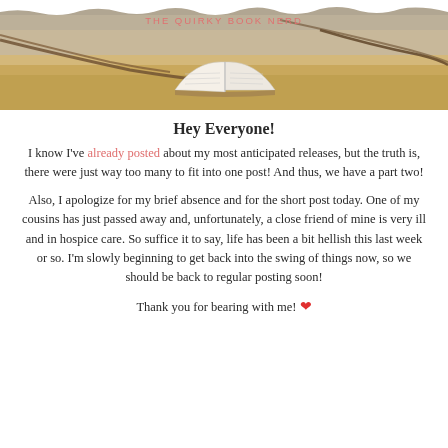[Figure (photo): Blog header image showing an open book lying on sandy beach with driftwood, warm tones. Blog title 'THE QUIRKY BOOK NERD' overlaid in pink text at top center.]
Hey Everyone!
I know I've already posted about my most anticipated releases, but the truth is, there were just way too many to fit into one post! And thus, we have a part two!
Also, I apologize for my brief absence and for the short post today. One of my cousins has just passed away and, unfortunately, a close friend of mine is very ill and in hospice care. So suffice it to say, life has been a bit hellish this last week or so. I'm slowly beginning to get back into the swing of things now, so we should be back to regular posting soon!
Thank you for bearing with me! ❤